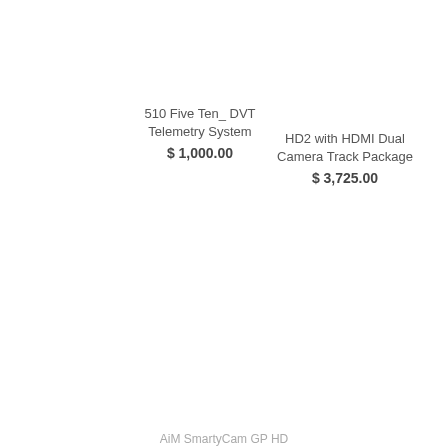510 Five Ten_ DVT Telemetry System
$ 1,000.00
HD2 with HDMI Dual Camera Track Package
$ 3,725.00
AiM SmartyCam GP HD